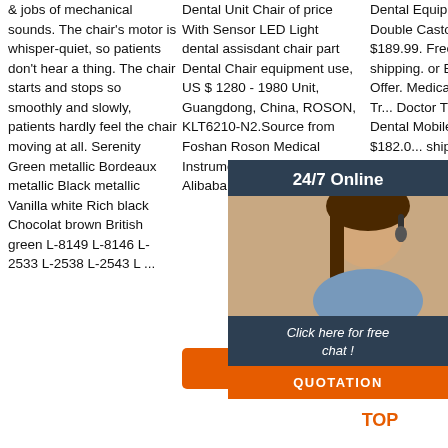& jobs of mechanical sounds. The chair's motor is whisper-quiet, so patients don't hear a thing. The chair starts and stops so smoothly and slowly, patients hardly feel the chair moving at all. Serenity Green metallic Bordeaux metallic Black metallic Vanilla white Rich black Chocolat brown British green L-8149 L-8146 L-2533 L-2538 L-2543 L ...
Dental Unit Chair of price With Sensor LED Light dental assisdant chair part Dental Chair equipment use, US $ 1280 - 1980 Unit, Guangdong, China, ROSON, KLT6210-N2.Source from Foshan Roson Medical Instruments Co., Ltd. on Alibaba.com.
Dental Equipment Double Castors. $189.99. Free shipping. or Best Offer. Medical Cart Tr... Doctor Trolly S... Dental Mobile ... $182.0... shippin... Offer.
[Figure (photo): Chat widget overlay with a customer service representative (woman with headset), '24/7 Online' header, 'Click here for free chat!' text, and an orange QUOTATION button]
[Figure (other): TOP button icon with orange dots arranged above 'TOP' text in orange]
Get Price
Get ...
QUOTATION